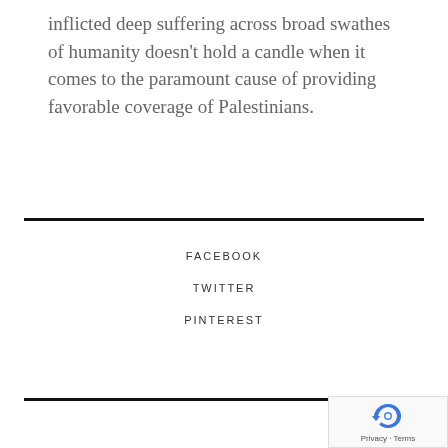inflicted deep suffering across broad swathes of humanity doesn't hold a candle when it comes to the paramount cause of providing favorable coverage of Palestinians.
FACEBOOK
TWITTER
PINTEREST